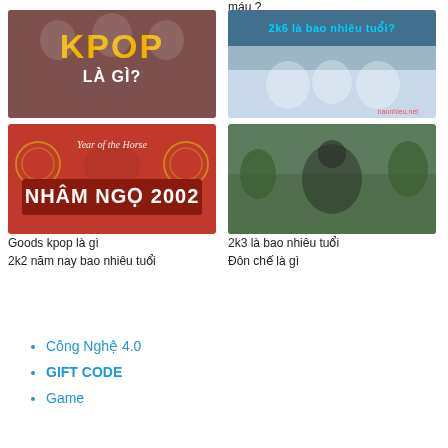máu ?
[Figure (photo): KPOP LÀ GÌ? - colorful group photo with purple and yellow background]
[Figure (photo): 2k6 là bao nhiêu tuổi? - school children classroom photo]
Goods kpop là gì
2k3 là bao nhiêu tuổi
[Figure (photo): NHÂM NGỌ 2002 - Year of the Horse red banner]
[Figure (photo): Đôn chế là gì - young man in black jacket outdoors]
2k2 năm nay bao nhiêu tuổi
Đôn chế là gì
Công Nghệ 4.0
GIFT CODE
Game